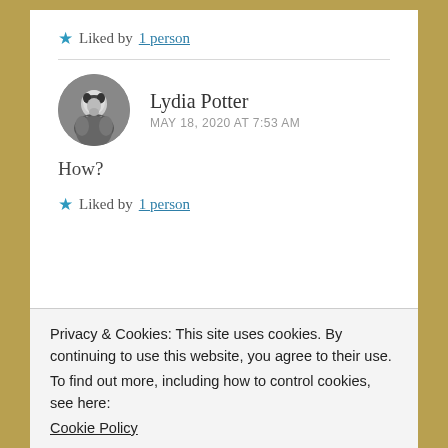★ Liked by 1 person
Lydia Potter
MAY 18, 2020 AT 7:53 AM
How?
★ Liked by 1 person
Privacy & Cookies: This site uses cookies. By continuing to use this website, you agree to their use.
To find out more, including how to control cookies, see here:
Cookie Policy
Close and accept
Whatever works for you, you could